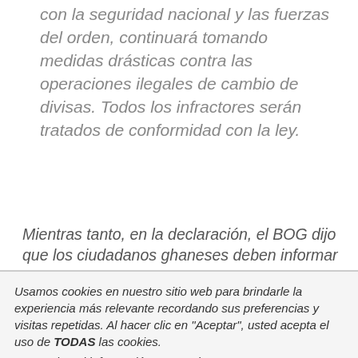con la seguridad nacional y las fuerzas del orden, continuará tomando medidas drásticas contra las operaciones ilegales de cambio de divisas. Todos los infractores serán tratados de conformidad con la ley.
Mientras tanto, en la declaración, el BOG dijo que los ciudadanos ghaneses deben informar cualquier violación de la Ley de Cambio de Divisas a sus oficinas
Usamos cookies en nuestro sitio web para brindarle la experiencia más relevante recordando sus preferencias y visitas repetidas. Al hacer clic en "Aceptar", usted acepta el uso de TODAS las cookies.
No vender mi información personal.
Configuración de cookies
Aceptar